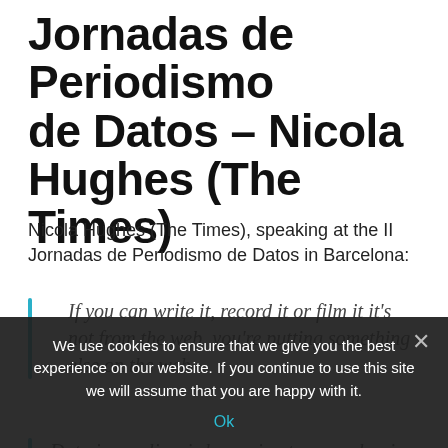Jornadas de Periodismo de Datos – Nicola Hughes (The Times)
Nicola Hughes (The Times), speaking at the II Jornadas de Periodismo de Datos in Barcelona:
If you can write it, record it or film it it's not from the web, you're putting something else on the web
Data journalism is becoming too popular, in the sense that some people think that it's enough to do some line charts, bar charts, just putting data out there, but they are not telling the story. There's a...
We use cookies to ensure that we give you the best experience on our website. If you continue to use this site we will assume that you are happy with it.
Ok